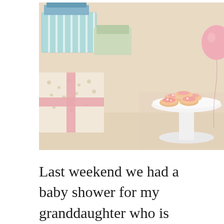[Figure (photo): Baby shower photo showing wrapped gifts with striped and floral wrapping paper on the left, and a white cake stand with pink-frosted donuts on the right, with a pink balloon partially visible. Warm, soft lighting on a beige/cream surface.]
Last weekend we had a baby shower for my granddaughter who is expecting her first baby.  This little girl who is on the way is a much longed for and planned for baby.  We are all excited and looking forward to welcoming her into the world.  And when she gets here she is going to be well equipped!  It takes a lot of gear for a tiny baby!  And it's all so big and takes up so much space!  I told my granddaughter she and her husband might